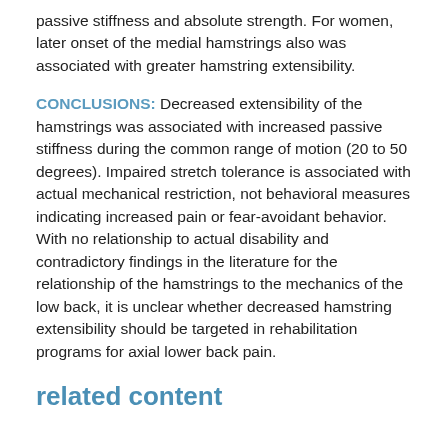passive stiffness and absolute strength. For women, later onset of the medial hamstrings also was associated with greater hamstring extensibility.
CONCLUSIONS: Decreased extensibility of the hamstrings was associated with increased passive stiffness during the common range of motion (20 to 50 degrees). Impaired stretch tolerance is associated with actual mechanical restriction, not behavioral measures indicating increased pain or fear-avoidant behavior. With no relationship to actual disability and contradictory findings in the literature for the relationship of the hamstrings to the mechanics of the low back, it is unclear whether decreased hamstring extensibility should be targeted in rehabilitation programs for axial lower back pain.
related content